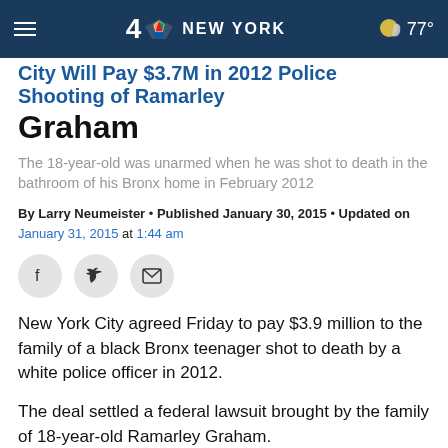4 NBC NEW YORK  77°
City Will Pay $3.7M in 2012 Police Shooting of Ramarley Graham
The 18-year-old was unarmed when he was shot to death in the bathroom of his Bronx home in February 2012
By Larry Neumeister • Published January 30, 2015 • Updated on January 31, 2015 at 1:44 am
[Figure (other): Social share buttons: Facebook, Twitter, Email]
New York City agreed Friday to pay $3.9 million to the family of a black Bronx teenager shot to death by a white police officer in 2012.
The deal settled a federal lawsuit brought by the family of 18-year-old Ramarley Graham.